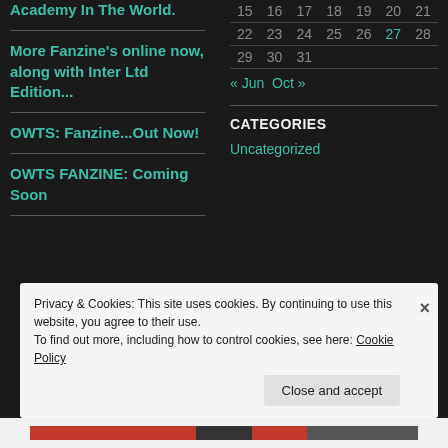Academy In The World.
More Fanzine's online now, along with Inter Ltd Edition...
OWTS: Fanzine...Out Now!
OWTS FANZINE: Coming Soon
| 15 | 16 | 17 | 18 | 19 | 20 | 21 |
| 22 | 23 | 24 | 25 | 26 | 27 | 28 |
| 29 | 30 | 31 |  |  |  |  |
« Jun   Oct »
CATEGORIES
Uncategorized
Privacy & Cookies: This site uses cookies. By continuing to use this website, you agree to their use.
To find out more, including how to control cookies, see here: Cookie Policy
Close and accept